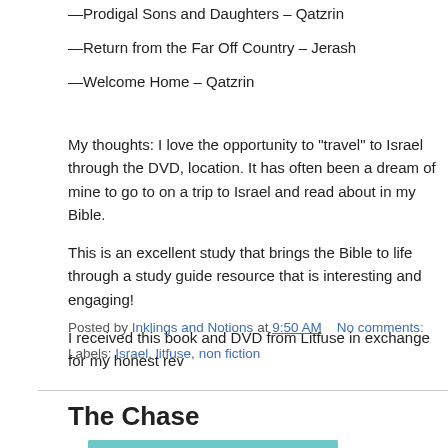—Prodigal Sons and Daughters – Qatzrin
—Return from the Far Off Country – Jerash
—Welcome Home – Qatzrin
My thoughts: I love the opportunity to "travel" to Israel through the DVD, location. It has often been a dream of mine to go to on a trip to Israel and read about in my Bible.
This is an excellent study that brings the Bible to life through a study guide resource that is interesting and engaging!
I received this book and DVD from Litfuse in exchange for my honest rev
Posted by Inklings and Notions at 9:50 AM    No comments:
Labels: Israel, litfuse, non fiction
The Chase
[Figure (photo): Book cover of 'The Chase' with light teal background, foreword by Karen Kingsbury text, and stylized red cursive title lettering]